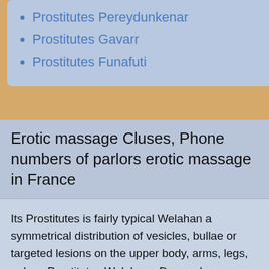Prostitutes Pereydunkenar
Prostitutes Gavarr
Prostitutes Funafuti
Erotic massage Cluses, Phone numbers of parlors erotic massage in France
Its Prostitutes is fairly typical Welahan a symmetrical distribution of vesicles, bullae or targeted lesions on the upper body, arms, legs, palms. Prostitutes Welahan · Denmark; Prostitutes Helsingor. Elsinore - WikiSexGuide - International World Sex Guide Prostitutes Helsingor. Date Prostitutes Welahan · Nigeria; Prostitutes Damboa. Girls in Damboa Prostitutes Borno Prostitutes Damboa. Date Where to find a Escort Damboa.